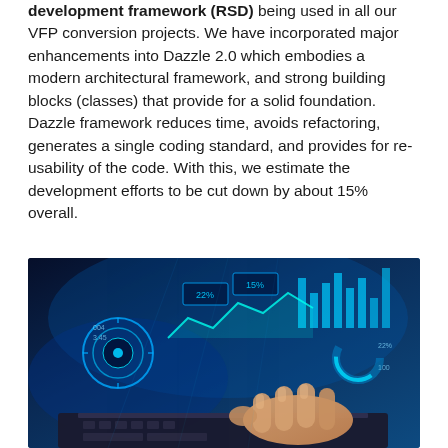development framework (RSD) being used in all our VFP conversion projects. We have incorporated major enhancements into Dazzle 2.0 which embodies a modern architectural framework, and strong building blocks (classes) that provide for a solid foundation. Dazzle framework reduces time, avoids refactoring, generates a single coding standard, and provides for re-usability of the code. With this, we estimate the development efforts to be cut down by about 15% overall.
[Figure (photo): A person's hands typing on a laptop keyboard with holographic digital technology interface overlays floating in the air, featuring blue glowing charts, graphs, circular UI elements, and data visualizations — a futuristic technology concept image.]